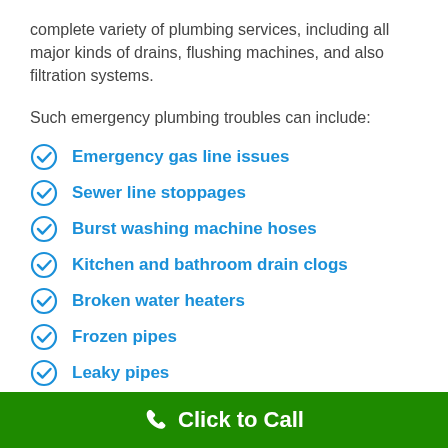complete variety of plumbing services, including all major kinds of drains, flushing machines, and also filtration systems.
Such emergency plumbing troubles can include:
Emergency gas line issues
Sewer line stoppages
Burst washing machine hoses
Kitchen and bathroom drain clogs
Broken water heaters
Frozen pipes
Leaky pipes
Overflowing toilets
Click to Call